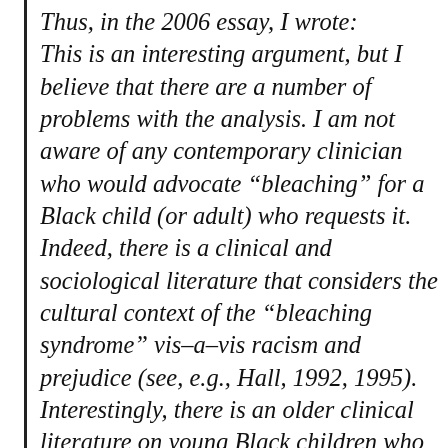Thus, in the 2006 essay, I wrote: This is an interesting argument, but I believe that there are a number of problems with the analysis. I am not aware of any contemporary clinician who would advocate “bleaching” for a Black child (or adult) who requests it. Indeed, there is a clinical and sociological literature that considers the cultural context of the “bleaching syndrome” vis-a-vis racism and prejudice (see, e.g., Hall, 1992, 1995). Interestingly, there is an older clinical literature on young Black children who want to be White (Brody, 1963)–what might be termed “ethnic identity disorder” of the contemporary era.